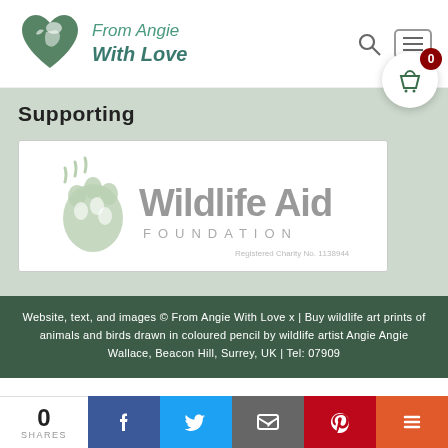[Figure (logo): From Angie With Love logo with heart and horse/bird silhouette, teal/green text]
Supporting
[Figure (logo): Wildlife Aid Foundation logo with green paw print and grey text, Registered Charity No. 1138944]
Website, text, and images © From Angie With Love x | Buy wildlife art prints of animals and birds drawn in coloured pencil by wildlife artist Angie Angie Wallace, Beacon Hill, Surrey, UK | Tel: 07909
0 SHARES | Facebook | Twitter | Email | Pinterest | More